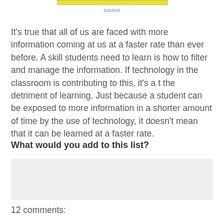[Figure (other): Yellow/gold horizontal image bar at top of page]
source
It's true that all of us are faced with more information coming at us at a faster rate than ever before. A skill students need to learn is how to filter and manage the information. If technology in the classroom is contributing to this, it's a t the detriment of learning. Just because a student can be exposed to more information in a shorter amount of time by the use of technology, it doesn't mean that it can be learned at a faster rate.
What would you add to this list?
[Figure (other): Light gray comment input box]
12 comments: